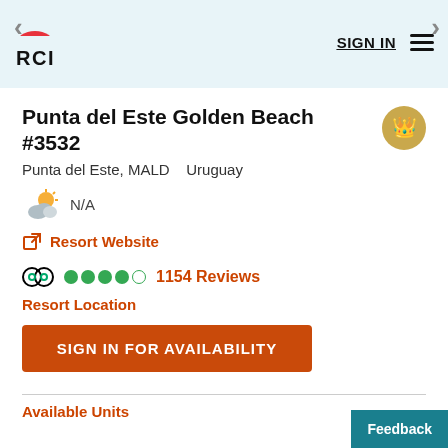RCI — SIGN IN
Punta del Este Golden Beach #3532
Punta del Este, MALD   Uruguay
N/A
Resort Website
1154 Reviews
Resort Location
SIGN IN FOR AVAILABILITY
Available Units